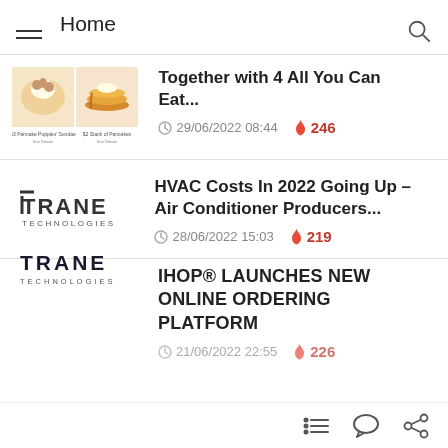Home
[Figure (screenshot): Food images thumbnail: pancake puppies sundae and stack of pancakes]
Together with 4 All You Can Eat...
29/06/2022 08:44  246
[Figure (logo): Trane Technologies logo]
HVAC Costs In 2022 Going Up – Air Conditioner Producers...
28/06/2022 15:03  219
IHOP® LAUNCHES NEW ONLINE ORDERING PLATFORM
21/06/2022 22:55  226